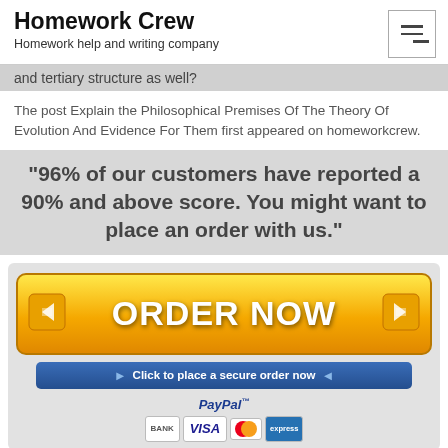Homework Crew — Homework help and writing company
and tertiary structure as well?
The post Explain the Philosophical Premises Of The Theory Of Evolution And Evidence For Them first appeared on homeworkcrew.
"96% of our customers have reported a 90% and above score. You might want to place an order with us."
[Figure (infographic): Orange ORDER NOW button with arrows on each side, a blue 'Click to place a secure order now' button below, and PayPal payment icons including BANK, VISA, Mastercard, and express card logos.]